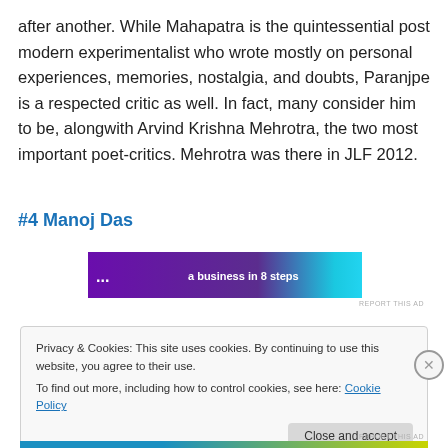after another. While Mahapatra is the quintessential post modern experimentalist who wrote mostly on personal experiences, memories, nostalgia, and doubts, Paranjpe is a respected critic as well. In fact, many consider him to be, alongwith Arvind Krishna Mehrotra, the two most important poet-critics. Mehrotra was there in JLF 2012.
#4 Manoj Das
[Figure (screenshot): Advertisement banner with purple gradient background and text 'a business in 8 steps']
Privacy & Cookies: This site uses cookies. By continuing to use this website, you agree to their use.
To find out more, including how to control cookies, see here: Cookie Policy
Close and accept